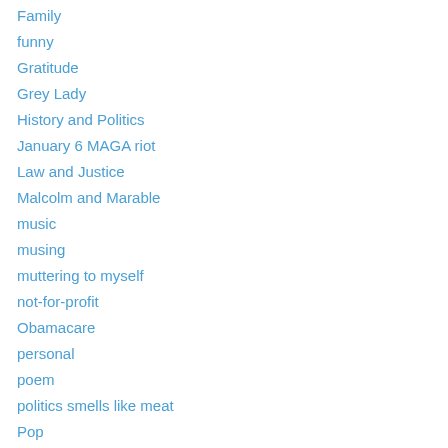Family
funny
Gratitude
Grey Lady
History and Politics
January 6 MAGA riot
Law and Justice
Malcolm and Marable
music
musing
muttering to myself
not-for-profit
Obamacare
personal
poem
politics smells like meat
Pop
recipes
slice of NYC life
soap box